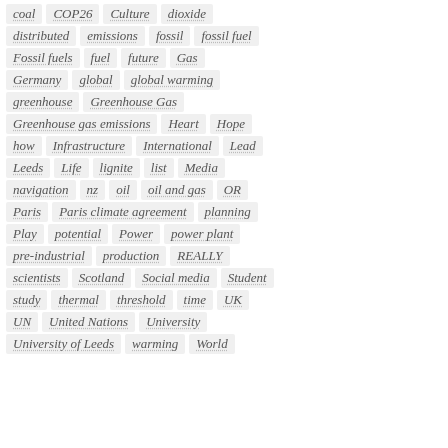[Figure (other): A tag cloud / keyword list showing terms related to climate change, energy, and related topics. Terms are displayed as pill-shaped tags with dotted underlines in italic gray text on light gray backgrounds, arranged in rows.]